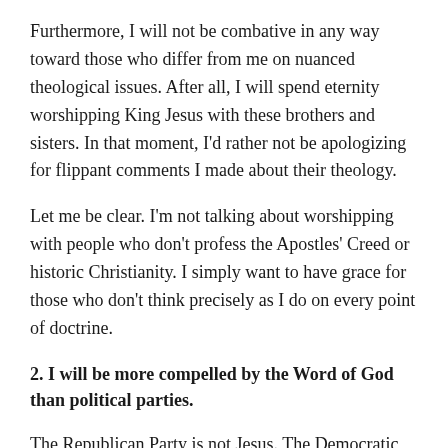Furthermore, I will not be combative in any way toward those who differ from me on nuanced theological issues. After all, I will spend eternity worshipping King Jesus with these brothers and sisters. In that moment, I'd rather not be apologizing for flippant comments I made about their theology.
Let me be clear. I'm not talking about worshipping with people who don't profess the Apostles' Creed or historic Christianity. I simply want to have grace for those who don't think precisely as I do on every point of doctrine.
2. I will be more compelled by the Word of God than political parties.
The Republican Party is not Jesus. The Democratic Party did not die for my sins and rise again. I will not allow political pressure to keep me from faithfully and accurately handling the Word of truth. Like many, my wife and I wrestled with how to vote during the presidential election. Some of my most godly